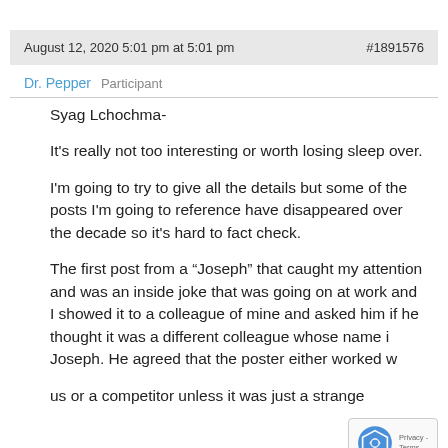August 12, 2020 5:01 pm at 5:01 pm   #1891576
Dr. Pepper   Participant
Syag Lchochma-

It's really not too interesting or worth losing sleep over.

I'm going to try to give all the details but some of the posts I'm going to reference have disappeared over the decade so it's hard to fact check.

The first post from a “Joseph” that caught my attention and was an inside joke that was going on at work and I showed it to a colleague of mine and asked him if he thought it was a different colleague whose name is Joseph. He agreed that the poster either worked with us or a competitor unless it was just a strange